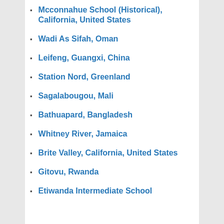Mcconnahue School (Historical), California, United States
Wadi As Sifah, Oman
Leifeng, Guangxi, China
Station Nord, Greenland
Sagalabougou, Mali
Bathuapard, Bangladesh
Whitney River, Jamaica
Brite Valley, California, United States
Gitovu, Rwanda
Etiwanda Intermediate School